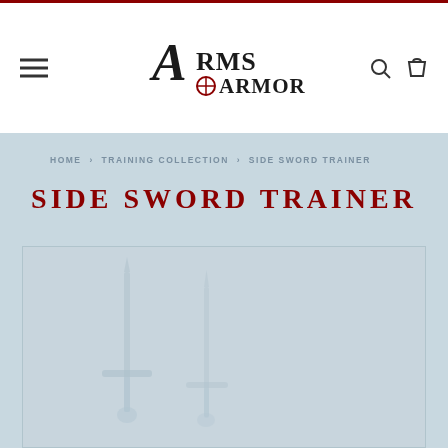Arms & Armor - navigation header with logo, hamburger menu, search and cart icons
HOME > TRAINING COLLECTION > SIDE SWORD TRAINER
SIDE SWORD TRAINER
[Figure (photo): Product image area showing a side sword trainer, partially visible at bottom of page, rendered against a light blue-grey background]